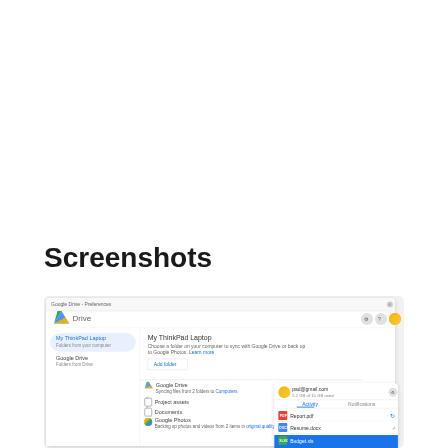Screenshots
[Figure (screenshot): Google Drive Preferences application window showing My ThinkPad Laptop and Google Drive sections, with a file list including Project assets, Documents, Google Photos, and a popup panel showing padgmail.com account with Activity and Notifications tabs, listing Report.pdf, Resume.docx, and Budget.xls files.]